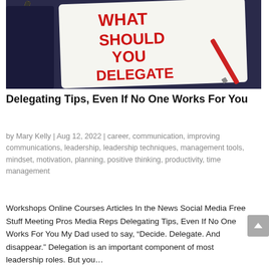[Figure (photo): Photo of a notepad with red handwritten text 'WHAT SHOULD YOU DELEGATE' surrounded by colored pens and a blue eraser on a dark background]
Delegating Tips, Even If No One Works For You
by Mary Kelly | Aug 12, 2022 | career, communication, improving communications, leadership, leadership techniques, management tools, mindset, motivation, planning, positive thinking, productivity, time management
Workshops Online Courses Articles In the News Social Media Free Stuff Meeting Pros Media Reps Delegating Tips, Even If No One Works For You My Dad used to say, “Decide. Delegate. And disappear.” Delegation is an important component of most leadership roles. But you…